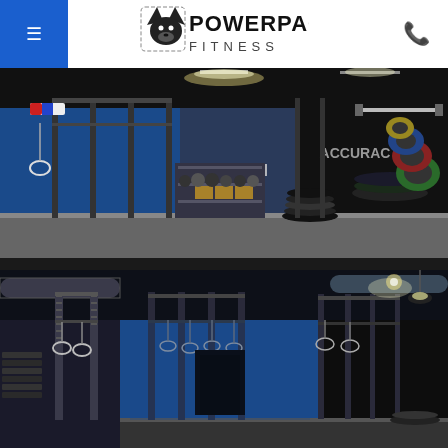[Figure (logo): PowerPack Fitness logo with wolf head icon and text POWERPACK FITNESS]
[Figure (photo): Interior of PowerPack Fitness gym showing squat racks, pull-up rigs, blue walls, weight plates, and a STRENGTH banner. The text ACCURAC is visible on the right side wall.]
[Figure (photo): Interior of PowerPack Fitness gym showing rows of squat racks with gymnastic rings hanging from the rig, blue walls, dark ceiling with industrial lighting, and weight storage in the background.]